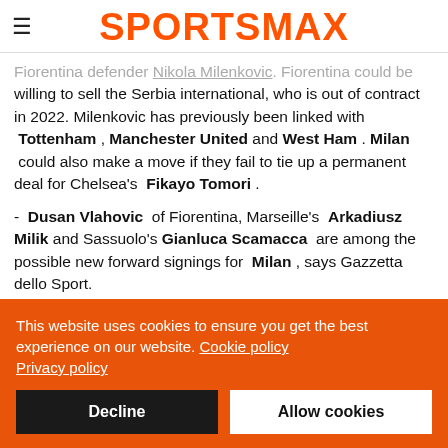SPORTSMAX
Fiorentina defender Nikola Milenkovic. Fiorentina could be willing to sell the Serbia international, who is out of contract in 2022. Milenkovic has previously been linked with Tottenham , Manchester United and West Ham . Milan could also make a move if they fail to tie up a permanent deal for Chelsea's Fikayo Tomori .
- Dusan Vlahovic of Fiorentina, Marseille's Arkadiusz Milik and Sassuolo's Gianluca Scamacca are among the possible new forward signings for Milan , says Gazzetta dello Sport.
This website uses cookies to ensure you get the best experience on our website. Cookie policy Privacy policy
Decline   Allow cookies